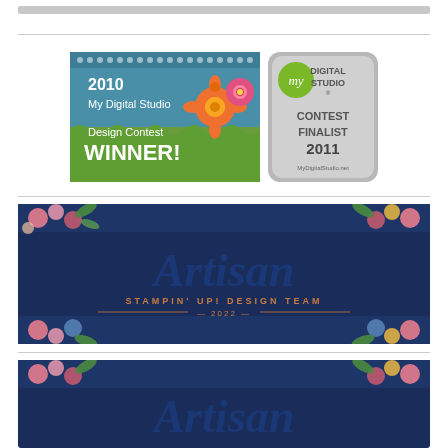[Figure (illustration): Gray bar at top of page]
[Figure (illustration): 2010 My Digital Studio Design Contest WINNER badge and My Digital Studio Contest Finalist 2011 badge side by side]
[Figure (illustration): Artisan Stampin Up! Design Team 2022 banner with floral decoration on dark navy background]
[Figure (illustration): Partial floral banner at bottom of page, similar to the Artisan banner above]